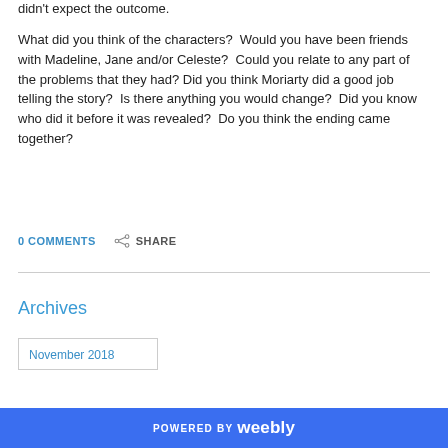didn't expect the outcome.
What did you think of the characters?  Would you have been friends with Madeline, Jane and/or Celeste?  Could you relate to any part of the problems that they had? Did you think Moriarty did a good job telling the story?  Is there anything you would change?  Did you know who did it before it was revealed?  Do you think the ending came together?
0 COMMENTS   SHARE
Archives
November 2018
POWERED BY weebly